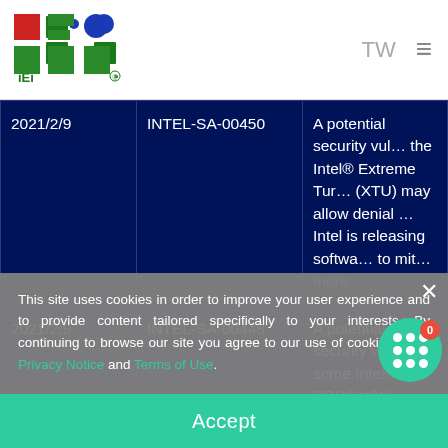IEI logo | TW | menu
| Date | Advisory ID | Description |
| --- | --- | --- |
| 2021/2/9 | INTEL-SA-00450 | A potential security vul... the Intel® Extreme Tuning (XTU) may allow denial ... Intel is releasing softwa... to mit...more |
| 2021/2/9 | INTEL-SA-00448 | A potential security vul... some Intel® PROSet/Wi... and Killer™ drivers for W... may allow information ... or denial ...more |
This site uses cookies in order to improve your user experience and to provide content tailored specifically to your interests. By continuing to browse our site you agree to our use of cookies, Data Privacy Notice and Terms of Use.
Accept